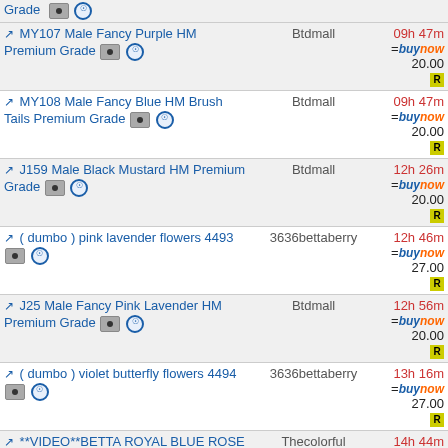| Item | Seller | Time | Price |
| --- | --- | --- | --- |
| MY107 Male Fancy Purple HM Premium Grade | Btdmall | 09h 47m | 20.00 |
| MY108 Male Fancy Blue HM Brush Tails Premium Grade | Btdmall | 09h 47m | 20.00 |
| J159 Male Black Mustard HM Premium Grade | Btdmall | 12h 26m | 20.00 |
| ( dumbo ) pink lavender flowers 4493 | 3636bettaberry | 12h 46m | 27.00 |
| J25 Male Fancy Pink Lavender HM Premium Grade | Btdmall | 12h 56m | 20.00 |
| ( dumbo ) violet butterfly flowers 4494 | 3636bettaberry | 13h 16m | 27.00 |
| **VIDEO**BETTA ROYAL BLUE ROSE TAIL OHM MALE** | Thecolorful | 14h 44m | 30.00 |
| **VIDEO**BETTA FANCY YELLOW BLUE OHM MALE** | Thecolorful | 14h 53m | 30.00 |
| **VIDEO**BETTA YELLOW GOLD ROSE TAIL OHM MALE** | Thecolorful | 14h 55m | 30.00 |
| 88 DT AVATAR MALE VDO | Emmygolf | 16h 32m | 22.00 |
| JU27 Male Fancy Red Lavender White Rims HM Premium | Btdmall | 19h 08m | 20.00 |